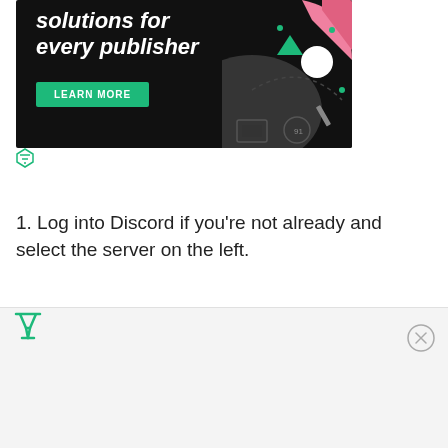[Figure (illustration): Dark-themed advertisement banner with white italic bold text reading 'solutions for every publisher', a green 'LEARN MORE' button, and decorative abstract shapes including pink and green geometric forms, a white circle, dotted lines, and small icons on a black background.]
[Figure (logo): Small green triangular/funnel icon (ad network logo) below the advertisement banner.]
1. Log into Discord if you're not already and select the server on the left.
[Figure (logo): Green triangular/funnel icon at the bottom left of the page, part of the bottom ad bar.]
[Figure (other): Circle with X close button at the bottom right of the page.]